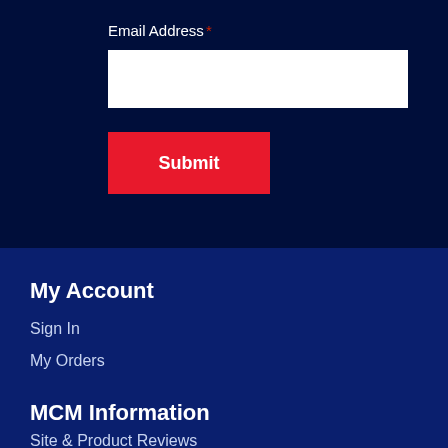Email Address *
[Figure (screenshot): White email address input field]
Submit
My Account
Sign In
My Orders
MCM Information
Site & Product Reviews